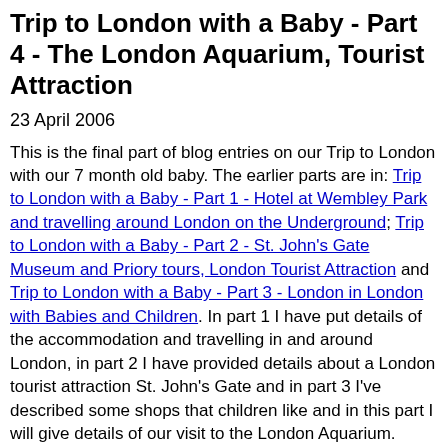Trip to London with a Baby - Part 4 - The London Aquarium, Tourist Attraction
23 April 2006
This is the final part of blog entries on our Trip to London with our 7 month old baby. The earlier parts are in: Trip to London with a Baby - Part 1 - Hotel at Wembley Park and travelling around London on the Underground; Trip to London with a Baby - Part 2 - St. John's Gate Museum and Priory tours, London Tourist Attraction and Trip to London with a Baby - Part 3 - London in London with Babies and Children. In part 1 I have put details of the accommodation and travelling in and around London, in part 2 I have provided details about a London tourist attraction St. John's Gate and in part 3 I've described some shops that children like and in this part I will give details of our visit to the London Aquarium.
We were originally planning to go to London Zoo, however partly due to the poor weather we decided to go to the London Aquarium instead. I've wanted to visit the London Aquarium for some time. I used to go to London's southbank quite a lot when I worked for IBM. I had often walked past the entrance to the aquarium, but never had the opportunity to go inside.